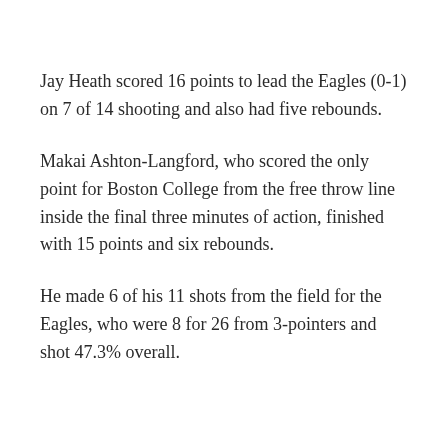Jay Heath scored 16 points to lead the Eagles (0-1) on 7 of 14 shooting and also had five rebounds.
Makai Ashton-Langford, who scored the only point for Boston College from the free throw line inside the final three minutes of action, finished with 15 points and six rebounds.
He made 6 of his 11 shots from the field for the Eagles, who were 8 for 26 from 3-pointers and shot 47.3% overall.